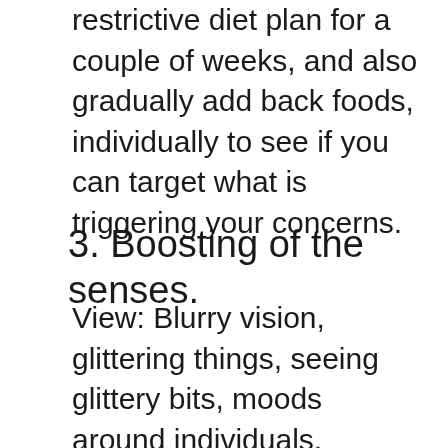restrictive diet plan for a couple of weeks, and also gradually add back foods, individually to see if you can target what is triggering your concerns.
3. Boosting of the senses.
View: Blurry vision, glittering things, seeing glittery bits, moods around individuals, plants, animals, and things. Some record seeing formerly opaque things as clear. Hearing: hearing white noise in the head, beeps, tones, songs or electronic patterns.Some listen to water hurrying, bees humming, whooshing, roaring or sounding. Some hear odd voices in their dreams, as if someone is hovering near them Enhanced detects of smell, touch, and/or